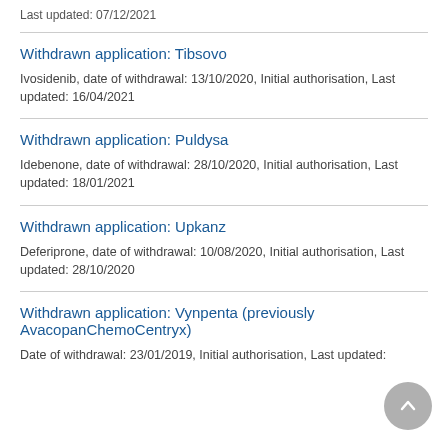Last updated: 07/12/2021
Withdrawn application: Tibsovo
Ivosidenib, date of withdrawal: 13/10/2020, Initial authorisation, Last updated: 16/04/2021
Withdrawn application: Puldysa
Idebenone, date of withdrawal: 28/10/2020, Initial authorisation, Last updated: 18/01/2021
Withdrawn application: Upkanz
Deferiprone, date of withdrawal: 10/08/2020, Initial authorisation, Last updated: 28/10/2020
Withdrawn application: Vynpenta (previously AvacopanChemoCentryx)
Date of withdrawal: 23/01/2019, Initial authorisation, Last updated: